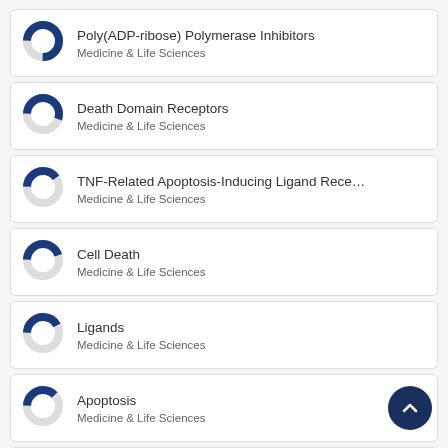Poly(ADP-ribose) Polymerase Inhibitors — Medicine & Life Sciences
Death Domain Receptors — Medicine & Life Sciences
TNF-Related Apoptosis-Inducing Ligand Receptors — Medicine & Life Sciences
Cell Death — Medicine & Life Sciences
Ligands — Medicine & Life Sciences
Apoptosis — Medicine & Life Sciences
Tumor Necrosis Factor-alpha — Medicine & Life Sciences